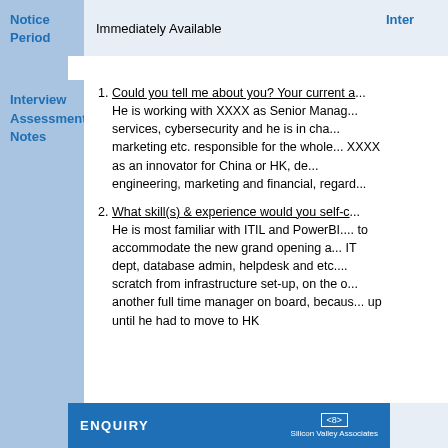| Notice Period | Immediately Available | Inter... |
| --- | --- | --- |
Interview Assessment Notes
1. Could you tell me about you? Your current a...
He is working with XXXX as Senior Manag... services, cybersecurity and he is in cha... marketing etc. responsible for the whole... XXXX as an innovator for China or HK, de... engineering, marketing and financial, regard...
2. What skill(s) & experience would you self-c...
He is most familiar with ITIL and PowerBI.... to accommodate the new grand opening a... IT dept, database admin, helpdesk and etc.... scratch from infrastructure set-up, on the o... another full time manager on board, becaus... up until he had to move to HK
ENQUIRY   Silicon Valley Associates  <8>